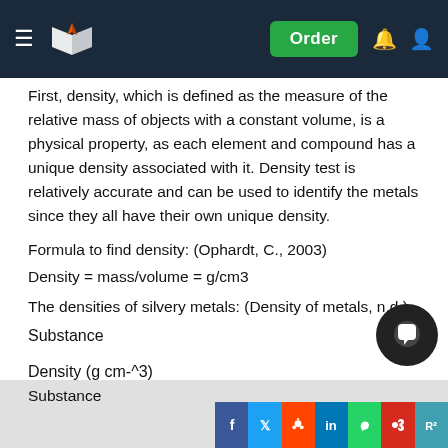Navigation bar with logo and Order button
First, density, which is defined as the measure of the relative mass of objects with a constant volume, is a physical property, as each element and compound has a unique density associated with it. Density test is relatively accurate and can be used to identify the metals since they all have their own unique density.
Formula to find density: (Ophardt, C., 2003)
The densities of silvery metals: (Density of metals, n.d.)
Substance
Density (g cm-^3)
Substance